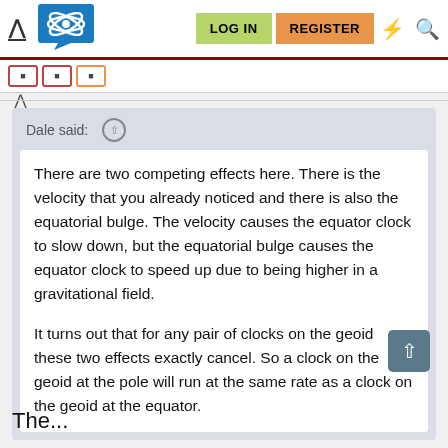[Figure (screenshot): Website navigation bar with logo, LOG IN and REGISTER buttons, and icons]
Dale said: ↑
There are two competing effects here. There is the velocity that you already noticed and there is also the equatorial bulge. The velocity causes the equator clock to slow down, but the equatorial bulge causes the equator clock to speed up due to being higher in a gravitational field.

It turns out that for any pair of clocks on the geoid these two effects exactly cancel. So a clock on the geoid at the pole will run at the same rate as a clock on the geoid at the equator.
The...the...? What is the...